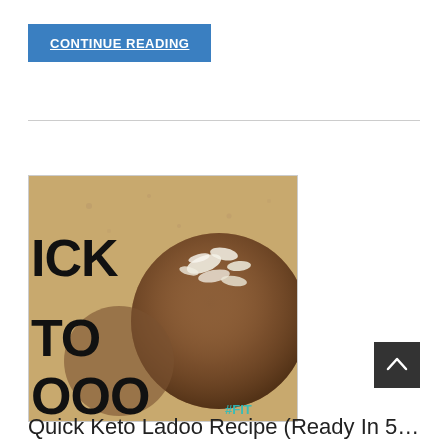CONTINUE READING
[Figure (photo): Photo of a keto ladoo ball coated with coconut flakes on a wooden surface, with partial text 'ICK TO OOO' and '#FIT' watermark visible]
Quick Keto Ladoo Recipe (Ready In 5…